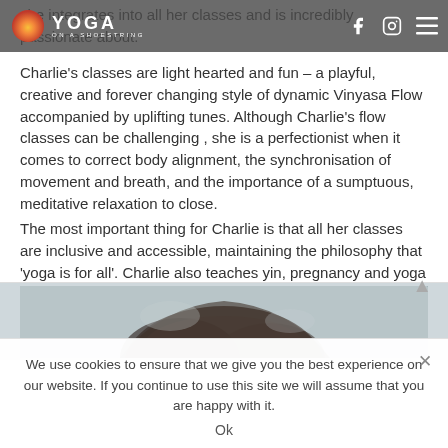Yoga on a Shoestring — navigation bar with logo, Facebook, Instagram, and menu icons
she integrates into all her classes and is incredibly passionate about.
Charlie's classes are light hearted and fun – a playful, creative and forever changing style of dynamic Vinyasa Flow accompanied by uplifting tunes. Although Charlie's flow classes can be challenging , she is a perfectionist when it comes to correct body alignment, the synchronisation of movement and breath, and the importance of a sumptuous, meditative relaxation to close.
The most important thing for Charlie is that all her classes are inclusive and accessible, maintaining the philosophy that 'yoga is for all'. Charlie also teaches yin, pregnancy and yoga nidra.
[Figure (photo): Partial photo of a person with dark hair, shown from above/behind, against a light blurred background.]
We use cookies to ensure that we give you the best experience on our website. If you continue to use this site we will assume that you are happy with it.
Ok